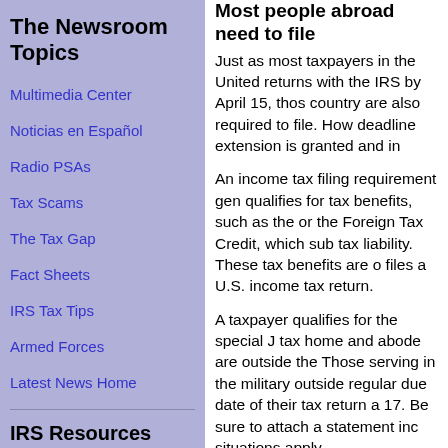The Newsroom Topics
Multimedia Center
Noticias en Español
Radio PSAs
Tax Scams
The Tax Gap
Fact Sheets
IRS Tax Tips
Armed Forces
Latest News Home
IRS Resources
Most people abroad need to file
Just as most taxpayers in the United returns with the IRS by April 15, thos country are also required to file. How deadline extension is granted and in
An income tax filing requirement gen qualifies for tax benefits, such as the or the Foreign Tax Credit, which sub tax liability. These tax benefits are o files a U.S. income tax return.
A taxpayer qualifies for the special J tax home and abode are outside the Those serving in the military outside regular due date of their tax return a 17. Be sure to attach a statement inc situations apply.
Payments for taxes owed were du
rate of 6 percent per year, compound payment received after the original A